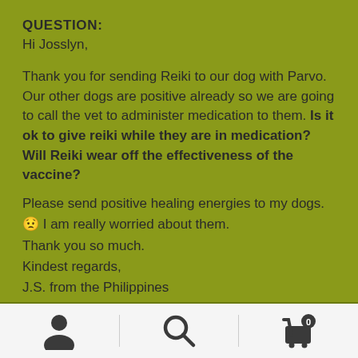QUESTION:
Hi Josslyn,

Thank you for sending Reiki to our dog with Parvo. Our other dogs are positive already so we are going to call the vet to administer medication to them. Is it ok to give reiki while they are in medication? Will Reiki wear off the effectiveness of the vaccine?
Please send positive healing energies to my dogs. 🙁 I am really worried about them.
Thank you so much.
Kindest regards,
J.S. from the Philippines
ANSWER: